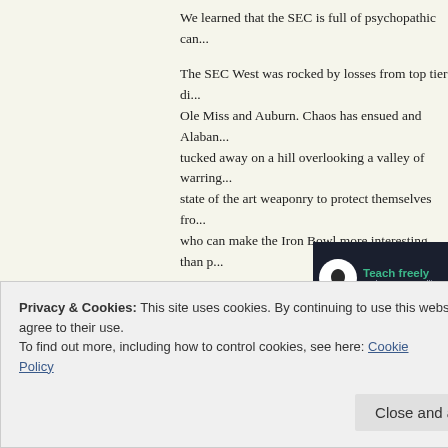We learned that the SEC is full of psychopathic can...
The SEC West was rocked by losses from top tier di... Ole Miss and Auburn. Chaos has ensued and Alaban... tucked away on a hill overlooking a valley of warring... state of the art weaponry to protect themselves fro... who can make the Iron Bowl more interesting than p...
Auburn was able to beat Texas A&M on the ground w... yards and a touchdown while Nick Marshall was abl... as well as two touchdowns.
[Figure (infographic): Advertisement banner with dark background showing 'Teach freely / Make money selling on...' with tree icon in white circle]
Marshall was also able to air the ball out and racking...
Privacy & Cookies: This site uses cookies. By continuing to use this website, you agree to their use.
To find out more, including how to control cookies, see here: Cookie Policy
Close and accept